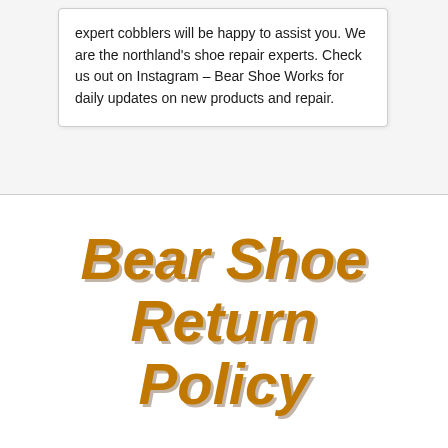expert cobblers will be happy to assist you. We are the northland's shoe repair experts. Check us out on Instagram – Bear Shoe Works for daily updates on new products and repair.
Bear Shoe Return Policy